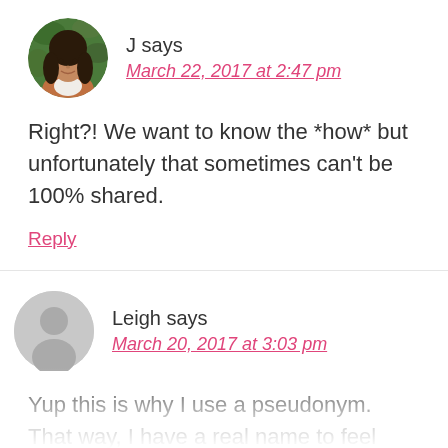[Figure (photo): Circular avatar photo of a woman with dark hair, wearing a brown/rust jacket, outdoors with green foliage background]
J says
March 22, 2017 at 2:47 pm
Right?! We want to know the *how* but unfortunately that sometimes can't be 100% shared.
Reply
[Figure (illustration): Circular gray placeholder avatar silhouette icon]
Leigh says
March 20, 2017 at 3:03 pm
Yup this is why I use a pseudonym. That way, I have a real name to feel more personable to readers without using my actual name. I do try though to not blog about things that I